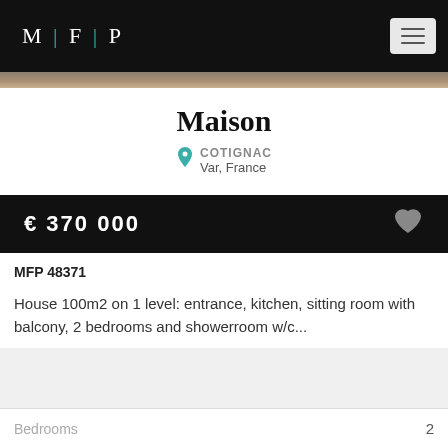[Figure (logo): MFP logo with teal separators on black background]
Maison
COTIGNAC
Var, France
€ 370 000
MFP 48371
House 100m2 on 1 level: entrance, kitchen, sitting room with balcony, 2 bedrooms and showerroom w/c...
Bedrooms	2